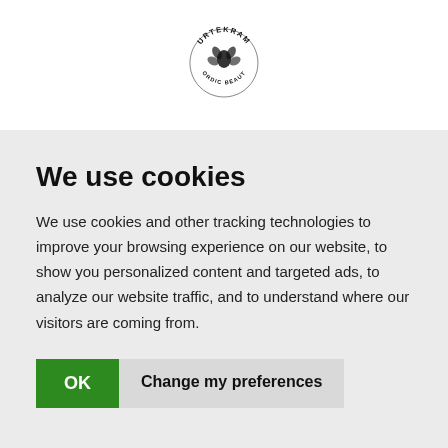[Figure (logo): Urtekram Nordic Beauty circular logo with leaves and text]
We use cookies
We use cookies and other tracking technologies to improve your browsing experience on our website, to show you personalized content and targeted ads, to analyze our website traffic, and to understand where our visitors are coming from.
OK | Change my preferences